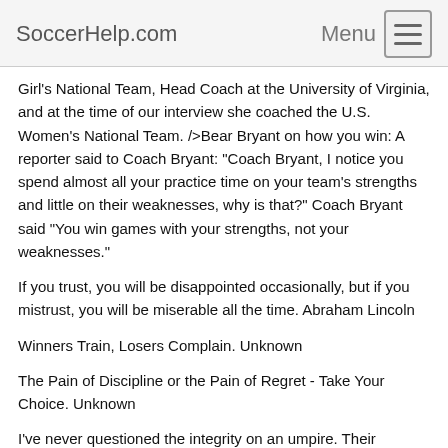SoccerHelp.com   Menu
Girl's National Team, Head Coach at the University of Virginia, and at the time of our interview she coached the U.S. Women's National Team. />Bear Bryant on how you win: A reporter said to Coach Bryant: "Coach Bryant, I notice you spend almost all your practice time on your team's strengths and little on their weaknesses, why is that?" Coach Bryant said "You win games with your strengths, not your weaknesses."
If you trust, you will be disappointed occasionally, but if you mistrust, you will be miserable all the time. Abraham Lincoln
Winners Train, Losers Complain. Unknown
The Pain of Discipline or the Pain of Regret - Take Your Choice. Unknown
I've never questioned the integrity on an umpire. Their eyesight, yes. Leo Durocher